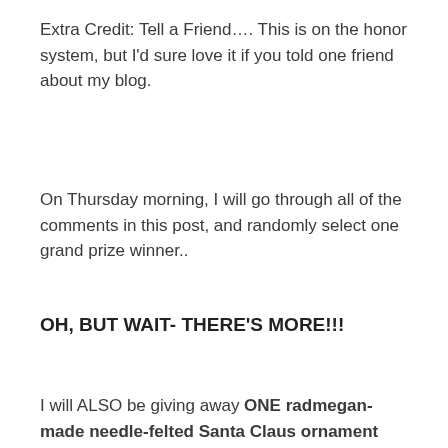Extra Credit: Tell a Friend…. This is on the honor system, but I'd sure love it if you told one friend about my blog.
On Thursday morning, I will go through all of the comments in this post, and randomly select one grand prize winner..
OH, BUT WAIT- THERE'S MORE!!!
I will ALSO be giving away ONE radmegan-made needle-felted Santa Claus ornament and ONE